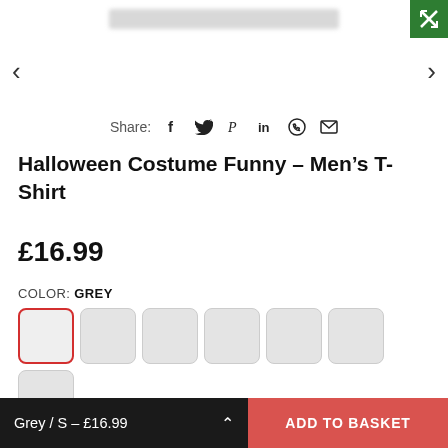[Figure (screenshot): Blurred product image thumbnail at top with expand button (green background with X arrows icon)]
< >
Share:
Halloween Costume Funny – Men's T-Shirt
£16.99
COLOR: GREY
[Figure (other): Color swatch selector grid showing multiple light grey swatches, first one selected with red border]
Grey / S – £16.99
ADD TO BASKET